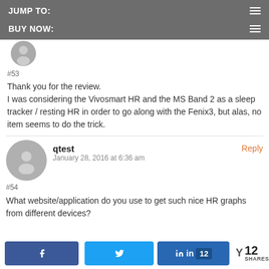JUMP TO:
BUY NOW:
#53
Thank you for the review.
I was considering the Vivosmart HR and the MS Band 2 as a sleep tracker / resting HR in order to go along with the Fenix3, but alas, no item seems to do the trick.
qtest
January 28, 2016 at 6:36 am
#54
What website/application do you use to get such nice HR graphs from different devices?